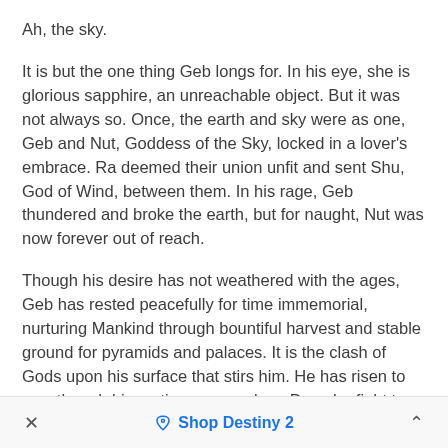Ah, the sky.
It is but the one thing Geb longs for. In his eye, she is glorious sapphire, an unreachable object. But it was not always so. Once, the earth and sky were as one, Geb and Nut, Goddess of the Sky, locked in a lover's embrace. Ra deemed their union unfit and sent Shu, God of Wind, between them. In his rage, Geb thundered and broke the earth, but for naught, Nut was now forever out of reach.
Though his desire has not weathered with the ages, Geb has rested peacefully for time immemorial, nurturing Mankind through bountiful harvest and stable ground for pyramids and palaces. It is the clash of Gods upon his surface that stirs him. He has risen to war, though his motives are unclear. Does he fight to prevent the destruction of his realm, or will he seize the chance to shatter the wind and reunite the earth and sky? Whatever
× ♡ Shop Destiny 2 ^